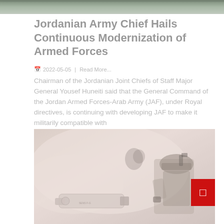[Figure (photo): Top banner image of a military/outdoor scene, muted olive/grey tones]
Jordanian Army Chief Hails Continuous Modernization of Armed Forces
2022-05-05  |  Read More...
Chairman of the Jordanian Joint Chiefs of Staff Major General Yousef Huneiti said that the General Command of the Jordan Armed Forces-Arab Army (JAF), under Royal directives, is continuing with developing JAF to make it militarily compatible with
[Figure (photo): Soldier in combat gear and helmet aiming a weapon launcher, muted reddish-tan tones, partially faded]